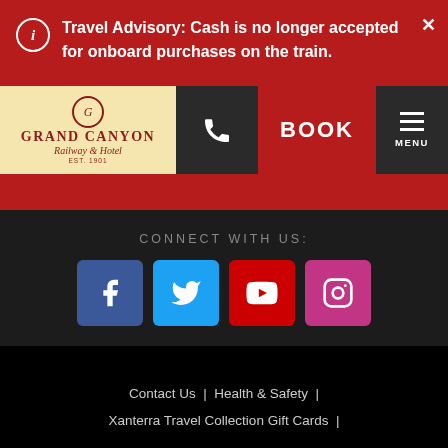Travel Advisory: Cash is no longer accepted for onboard purchases on the train.
[Figure (logo): Grand Canyon Railway & Hotel logo on cream/yellow background]
BOOK
MENU
CONNECT WITH US:
[Figure (infographic): Social media icons: Facebook (blue), Twitter (light blue), YouTube (red), Instagram (pink/purple)]
Contact Us | Health & Safety | Xanterra Travel Collection Gift Cards |